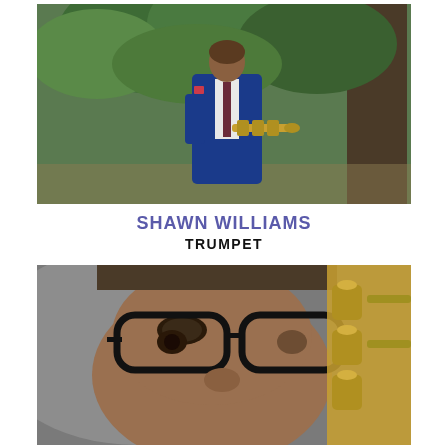[Figure (photo): Man in blue suit holding a trumpet, standing outdoors surrounded by green trees and foliage]
SHAWN WILLIAMS
TRUMPET
[Figure (photo): Close-up portrait of a man wearing black-rimmed glasses, with a gold trumpet visible in the foreground]